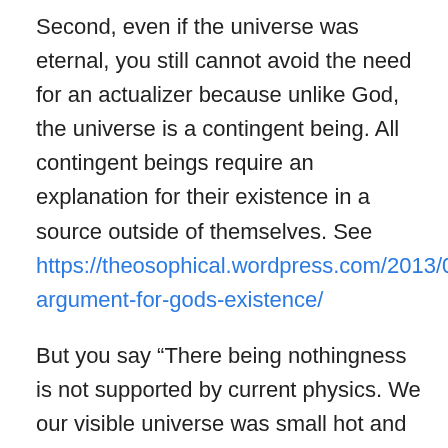Second, even if the universe was eternal, you still cannot avoid the need for an actualizer because unlike God, the universe is a contingent being. All contingent beings require an explanation for their existence in a source outside of themselves. See https://theosophical.wordpress.com/2013/04/23/contingency-argument-for-gods-existence/
But you say “There being nothingness is not supported by current physics. We our visible universe was small hot and dense some 14 billion years ago. Prior to that our models break down.” While it’s true that the Big Bang model cannot extrapolate prior to the singularity, it’s not true of cosmology in general. Cosmologists